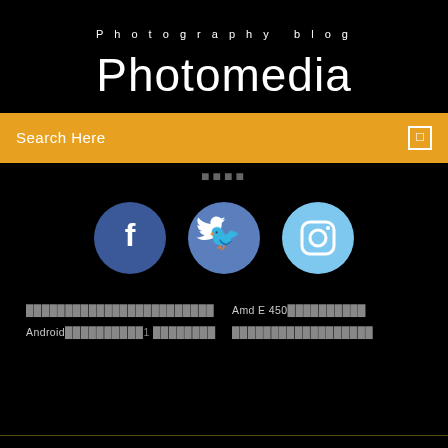Photography blog
Photomedia
Search Here
[Figure (infographic): Three social media icons: Facebook (dark blue circle with f), Twitter (medium blue circle with bird), Instagram (light blue circle with camera icon)]
░░░░░░░░░░░░░░░░░░░░░░░░  Amd E 450░░░░░░░░░░░
Android░░░░░░░░░░1 ░░░░░░░░  ░░░░░░░░░░░░░░░░░░░